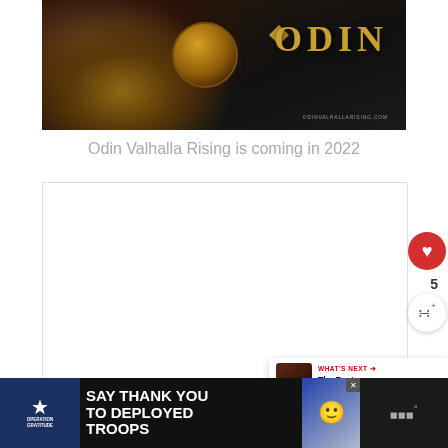[Figure (photo): Odin Valhalla Rising game promotional image showing a Viking warrior with shield and the ODIN logo in gold lettering on dark background with website odinvalhallarrising.com]
Odin Valhalla Rising is coming in 2022
[Figure (screenshot): Blank white content area / embedded media placeholder with heart (like) button showing count of 5, a share button, and a What's Next panel showing 'The Best Upcoming...' article thumbnail]
[Figure (photo): Advertisement banner: Operation Gratitude - SAY THANK YOU TO DEPLOYED TROOPS with cartoon character and close button]